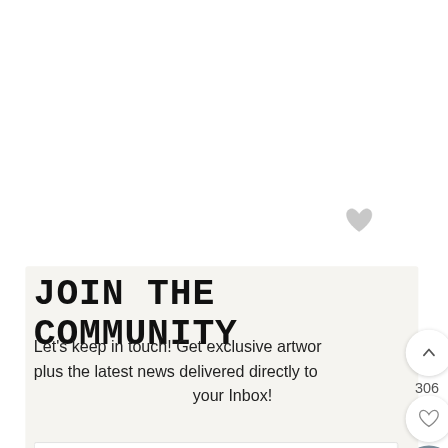[Figure (illustration): Light gray heart/like icon in top right area of white background]
JOIN THE COMMUNITY
Let's keep in touch! Get exclusive artwork plus the latest news delivered directly to your Inbox!
[Figure (screenshot): UI overlay: upward chevron button (white circle), number 306, heart/like button (white circle), search button (dark gray circle)]
First Name
Email Address